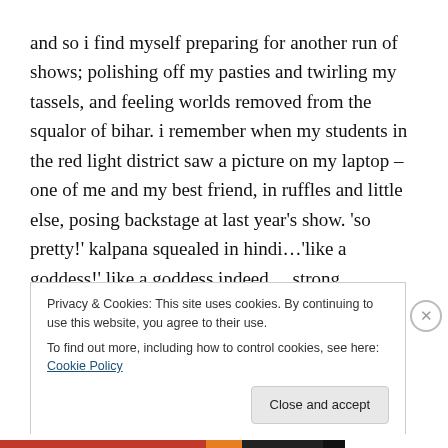and so i find myself preparing for another run of shows; polishing off my pasties and twirling my tassels, and feeling worlds removed from the squalor of bihar. i remember when my students in the red light district saw a picture on my laptop – one of me and my best friend, in ruffles and little else, posing backstage at last year's show. 'so pretty!' kalpana squealed in hindi…'like a goddess!' like a goddess indeed… strong, powerful, beautiful, and naked.
Privacy & Cookies: This site uses cookies. By continuing to use this website, you agree to their use.
To find out more, including how to control cookies, see here: Cookie Policy
Close and accept